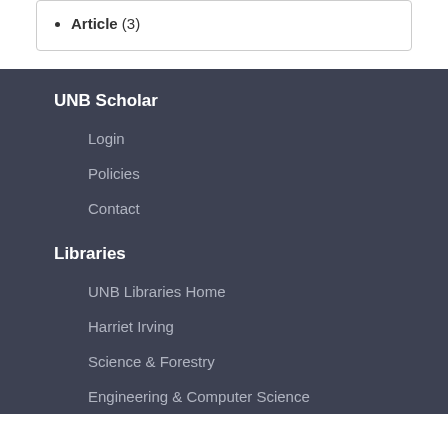Article (3)
UNB Scholar
Login
Policies
Contact
Libraries
UNB Libraries Home
Harriet Irving
Science & Forestry
Engineering & Computer Science